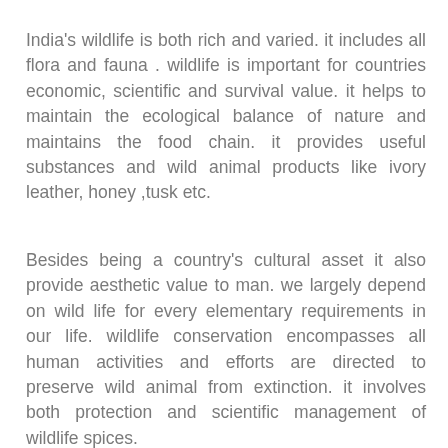India's wildlife is both rich and varied. it includes all flora and fauna . wildlife is important for countries economic, scientific and survival value. it helps to maintain the ecological balance of nature and maintains the food chain. it provides useful substances and wild animal products like ivory leather, honey ,tusk etc.
Besides being a country's cultural asset it also provide aesthetic value to man. we largely depend on wild life for every elementary requirements in our life. wildlife conservation encompasses all human activities and efforts are directed to preserve wild animal from extinction. it involves both protection and scientific management of wildlife spices.